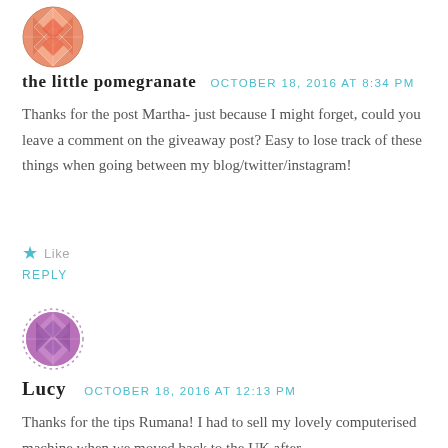[Figure (illustration): Circular avatar icon with orange/pink geometric mosaic pattern, for user 'the little pomegranate']
the little pomegranate   OCTOBER 18, 2016 AT 8:34 PM
Thanks for the post Martha- just because I might forget, could you leave a comment on the giveaway post? Easy to lose track of these things when going between my blog/twitter/instagram!
★ Like
REPLY
[Figure (illustration): Circular avatar icon with purple/pink geometric mosaic pattern with dotted border, for user 'Lucy']
Lucy   OCTOBER 18, 2016 AT 12:13 PM
Thanks for the tips Rumana! I had to sell my lovely computerised machine when we moved back to the UK after